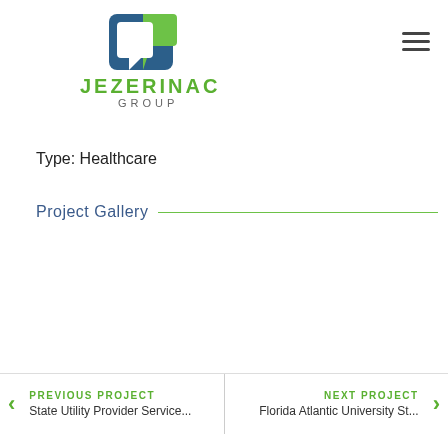[Figure (logo): Jezerinac Group logo: blue and green square speech-bubble icon above the text JEZERINAC GROUP]
Type: Healthcare
Project Gallery
PREVIOUS PROJECT | State Utility Provider Service... | NEXT PROJECT | Florida Atlantic University St...